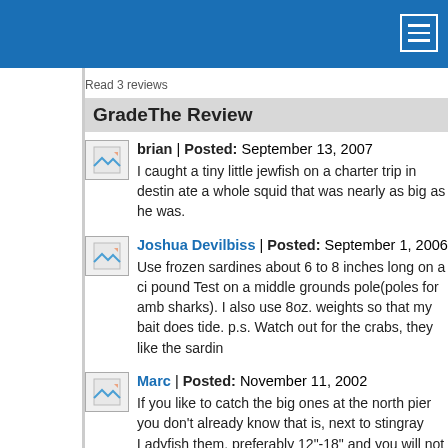Read 3 reviews
GradeThe Review
brian | Posted: September 13, 2007
I caught a tiny little jewfish on a charter trip in destin ate a whole squid that was nearly as big as he was.
Joshua Devilbiss | Posted: September 1, 2006
Use frozen sardines about 6 to 8 inches long on a circle pound Test on a middle grounds pole(poles for amb sharks). I also use 8oz. weights so that my bait does tide. p.s. Watch out for the crabs, they like the sardin
Marc | Posted: November 11, 2002
If you like to catch the big ones at the north pier you don't already know that is, next to stingray Ladyfish them, preferably 12"-18" and you will not have to wa

They are everywhere out there right now and have be now I just upped my mono to 100lb and between my were broke off 6x in about 3 hours!11/10/02—

Hope this can help someone HOOK UP with the big o